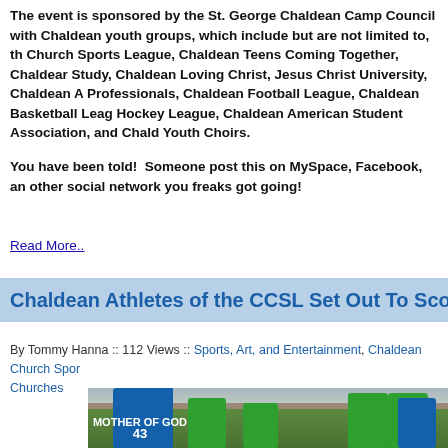The event is sponsored by the St. George Chaldean Camp Council with Chaldean youth groups, which include but are not limited to, the Church Sports League, Chaldean Teens Coming Together, Chaldean Study, Chaldean Loving Christ, Jesus Christ University, Chaldean A Professionals, Chaldean Football League, Chaldean Basketball League, Hockey League, Chaldean American Student Association, and Chaldean Youth Choirs.
You have been told!  Someone post this on MySpace, Facebook, and other social network you freaks got going!
Read More..
Chaldean Athletes of the CCSL Set Out To Score
By Tommy Hanna :: 112 Views :: Sports, Art, and Entertainment, Chaldean Church Sports, Churches
[Figure (photo): Soccer players in green and blue jerseys on a grass field, outdoor setting with trees and buildings in background. Player wearing number 43 in blue jersey visible.]